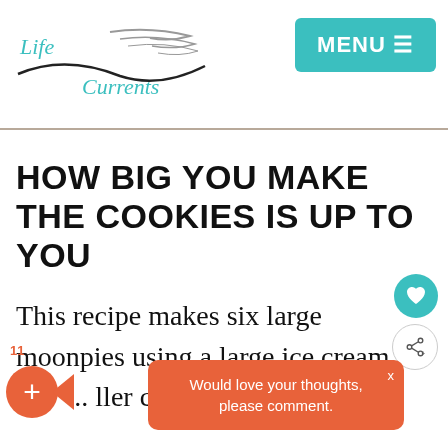Life Currents | MENU
HOW BIG YOU MAKE THE COOKIES IS UP TO YOU
This recipe makes six large moonpies using a large ice cream scoo... ller coo... , you'l